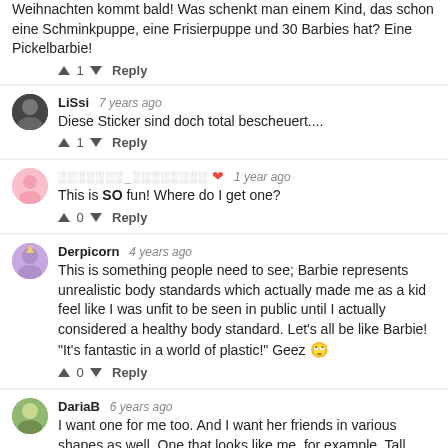Weihnachten kommt bald! Was schenkt man einem Kind, das schon eine Schminkpuppe, eine Frisierpuppe und 30 Barbies hat? Eine Pickelbarbie!
↑ 1 ↓ Reply
LiSsi  7 years ago
Diese Sticker sind doch total bescheuert....
↑ 1 ↓ Reply
░░░░░░░_░░░░░░░░ ❤ 1 year ago
This is SO fun! Where do I get one?
↑ 0 ↓ Reply
Derpicorn  4 years ago
This is something people need to see; Barbie represents unrealistic body standards which actually made me as a kid feel like I was unfit to be seen in public until I actually considered a healthy body standard. Let's all be like Barbie! "It's fantastic in a world of plastic!" Geez 🙄
↑ 0 ↓ Reply
DariaB  6 years ago
I want one for me too. And I want her friends in various shapes as well. One that looks like me, for example. Tall height, large shoulders, big boobs, long and slim neck, hourglass